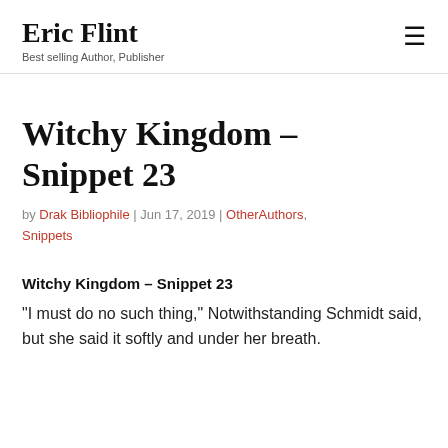Eric Flint
Best selling Author, Publisher
Witchy Kingdom – Snippet 23
by Drak Bibliophile | Jun 17, 2019 | OtherAuthors, Snippets
Witchy Kingdom – Snippet 23
“I must do no such thing,” Notwithstanding Schmidt said, but she said it softly and under her breath.